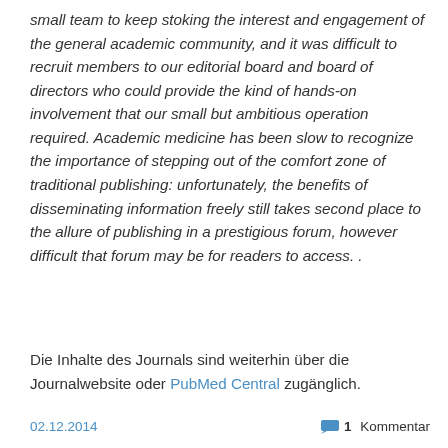small team to keep stoking the interest and engagement of the general academic community, and it was difficult to recruit members to our editorial board and board of directors who could provide the kind of hands-on involvement that our small but ambitious operation required. Academic medicine has been slow to recognize the importance of stepping out of the comfort zone of traditional publishing: unfortunately, the benefits of disseminating information freely still takes second place to the allure of publishing in a prestigious forum, however difficult that forum may be for readers to access. .
Die Inhalte des Journals sind weiterhin über die Journalwebsite oder PubMed Central zugänglich.
02.12.2014   1 Kommentar